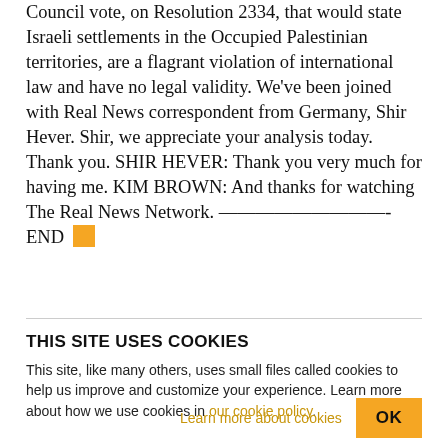abstention from the United States on the UN Security Council vote, on Resolution 2334, that would state Israeli settlements in the Occupied Palestinian territories, are a flagrant violation of international law and have no legal validity. We've been joined with Real News correspondent from Germany, Shir Hever. Shir, we appreciate your analysis today. Thank you. SHIR HEVER: Thank you very much for having me. KIM BROWN: And thanks for watching The Real News Network. —————————- END [orange square]
THIS SITE USES COOKIES
This site, like many others, uses small files called cookies to help us improve and customize your experience. Learn more about how we use cookies in our cookie policy.
Learn more about cookies    OK